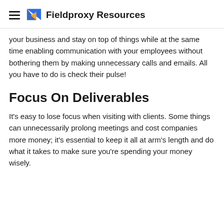Fieldproxy Resources
your business and stay on top of things while at the same time enabling communication with your employees without bothering them by making unnecessary calls and emails. All you have to do is check their pulse!
Focus On Deliverables
It's easy to lose focus when visiting with clients. Some things can unnecessarily prolong meetings and cost companies more money; it's essential to keep it all at arm's length and do what it takes to make sure you're spending your money wisely.